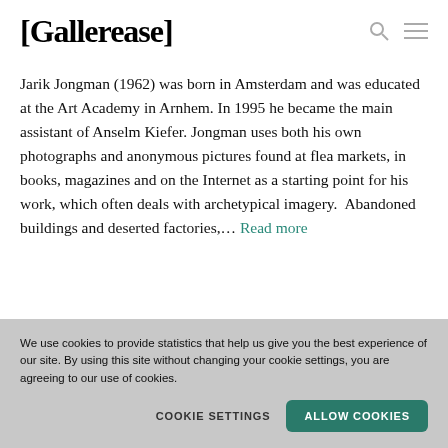[Gallerease]
Jarik Jongman (1962) was born in Amsterdam and was educated at the Art Academy in Arnhem. In 1995 he became the main assistant of Anselm Kiefer. Jongman uses both his own photographs and anonymous pictures found at flea markets, in books, magazines and on the Internet as a starting point for his work, which often deals with archetypical imagery.  Abandoned buildings and deserted factories,… Read more
We use cookies to provide statistics that help us give you the best experience of our site. By using this site without changing your cookie settings, you are agreeing to our use of cookies.